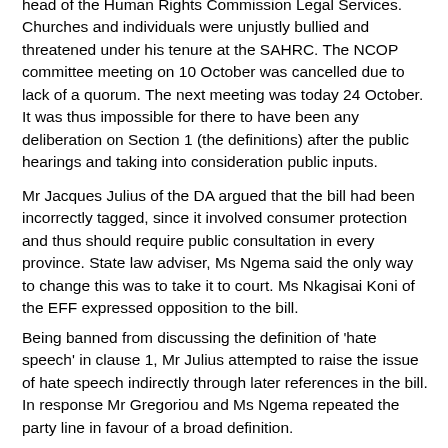head of the Human Rights Commission Legal Services. Churches and individuals were unjustly bullied and threatened under his tenure at the SAHRC.  The NCOP committee meeting on 10 October was cancelled due to lack of a quorum.  The next meeting was today 24 October. It was thus impossible for there to have been any deliberation on Section 1 (the definitions) after the public hearings and taking into consideration public inputs.
Mr Jacques Julius of the DA argued that the bill had been incorrectly tagged, since it involved consumer protection and thus should require public consultation in every province.  State law adviser, Ms Ngema said the only way to change this was to take it to court.  Ms Nkagisai Koni of the EFF expressed opposition to the bill.
Being banned from discussing the definition of 'hate speech' in clause 1, Mr Julius attempted to raise the issue of hate speech indirectly through later references in the bill.  In response Mr Gregoriou and Ms Ngema repeated the party line in favour of a broad definition.